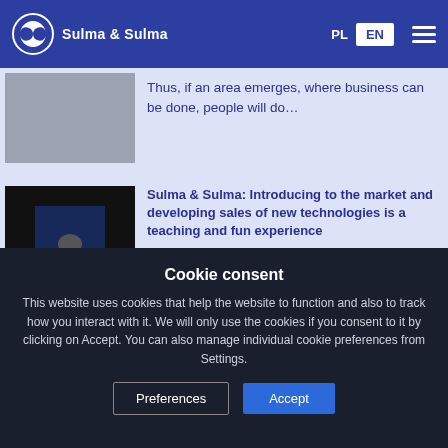Sulma & Sulma
Thus, if an area emerges, where business can be done, people will do…
Sulma & Sulma: Introducing to the market and developing sales of new technologies is a teaching and fun experience
It's impossible to get bored in our line of work. Each project is a challenge, trail
Cookie consent
This website uses cookies that help the website to function and also to track how you interact with it. We will only use the cookies if you consent to it by clicking on Accept. You can also manage individual cookie preferences from Settings.
Preferences  Accept